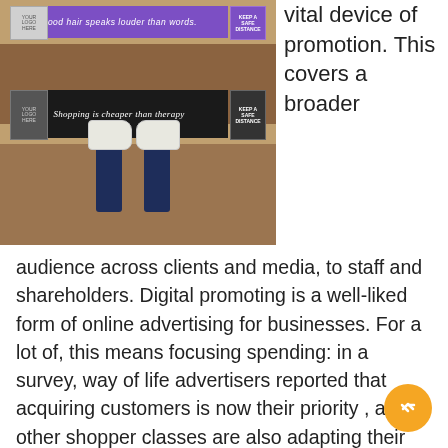[Figure (photo): Overhead view of a person's feet standing on floor mats. Top mat is purple with text 'Good hair speaks louder than words.' and a 'KEEP A SAFE DISTANCE' badge. Bottom mat is black with italic text 'Shopping is cheaper than therapy' and a logo placeholder. Person is wearing white sneakers and dark jeans, standing on a wooden floor.]
vital device of promotion. This covers a broader audience across clients and media, to staff and shareholders. Digital promoting is a well-liked form of online advertising for businesses. For a lot of, this means focusing spending: in a survey, way of life advertisers reported that acquiring customers is now their priority , and other shopper classes are also adapting their advertising methods Media – similar to TV – that work properly for identity-based mostly advertising and marketing will not be the precedence within the near-time period.